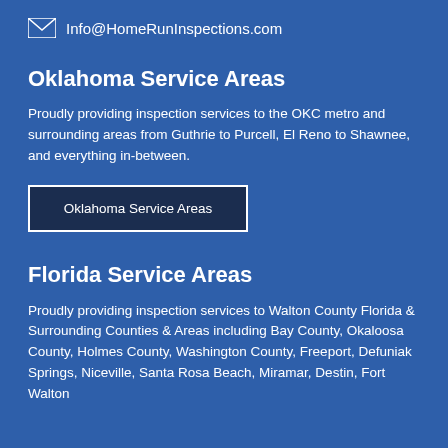Info@HomeRunInspections.com
Oklahoma Service Areas
Proudly providing inspection services to the OKC metro and surrounding areas from Guthrie to Purcell, El Reno to Shawnee, and everything in-between.
Oklahoma Service Areas
Florida Service Areas
Proudly providing inspection services to Walton County Florida & Surrounding Counties & Areas including Bay County, Okaloosa County, Holmes County, Washington County, Freeport, Defuniak Springs, Niceville, Santa Rosa Beach, Miramar, Destin, Fort Walton